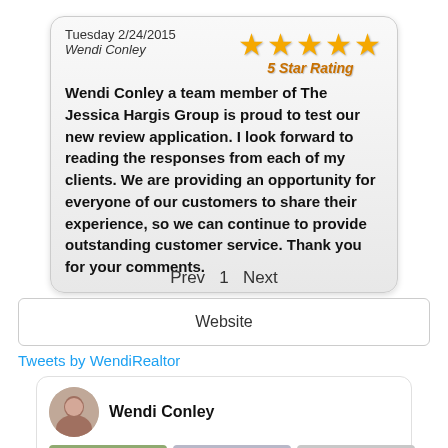Tuesday 2/24/2015
Wendi Conley
[Figure (illustration): 5 gold stars with '5 Star Rating' text below in orange/gold italic font]
Wendi Conley a team member of The Jessica Hargis Group is proud to test our new review application. I look forward to reading the responses from each of my clients. We are providing an opportunity for everyone of our customers to share their experience, so we can continue to provide outstanding customer service. Thank you for your comments.
Prev  1  Next
Website
Tweets by WendiRealtor
[Figure (screenshot): Twitter/social media card showing Wendi Conley profile photo and name, with three image thumbnails below including a green salad photo, a 'Things You Should' text card, and a gray image]
Wendi Conley